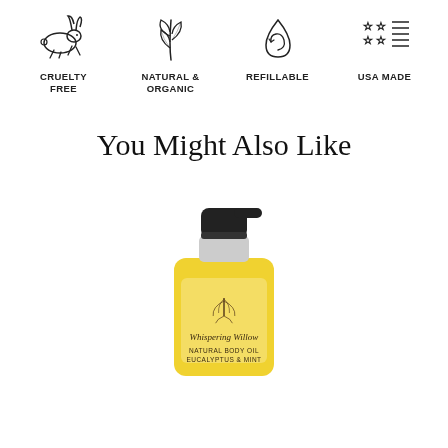[Figure (infographic): Four icons in a row: a leaping rabbit (Cruelty Free), a leaf branch (Natural & Organic), a water droplet swirl (Refillable), and a certificate/badge with stars (USA Made)]
CRUELTY FREE
NATURAL & ORGANIC
REFILLABLE
USA MADE
You Might Also Like
[Figure (photo): A yellow pump bottle of Whispering Willow Natural Body Oil Eucalyptus & Mint with a black pump top, partially cropped at the bottom of the page.]